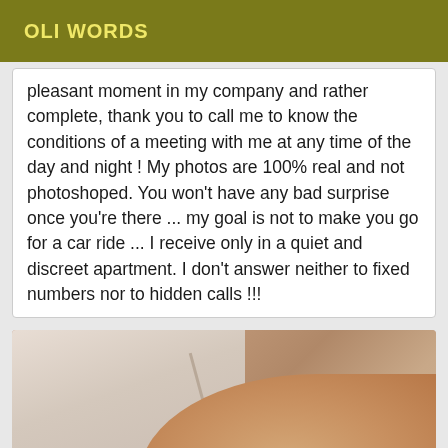OLI WORDS
pleasant moment in my company and rather complete, thank you to call me to know the conditions of a meeting with me at any time of the day and night ! My photos are 100% real and not photoshoped. You won't have any bad surprise once you're there ... my goal is not to make you go for a car ride ... I receive only in a quiet and discreet apartment. I don't answer neither to fixed numbers nor to hidden calls !!!
[Figure (photo): A photograph showing a partial view of a person in a white lace bra/garment against a beige/tan wall background.]